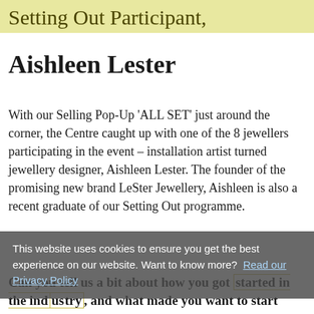Setting Out Participant,
Aishleen Lester
With our Selling Pop-Up 'ALL SET' just around the corner, the Centre caught up with one of the 8 jewellers participating in the event – installation artist turned jewellery designer, Aishleen Lester. The founder of the promising new brand LeSter Jewellery, Aishleen is also a recent graduate of our Setting Out programme.
This website uses cookies to ensure you get the best experience on our website. Want to know more?  Read our Privacy Policy
Can you tell us a bit about how you got started in the industry, and what made you want to start your own business?
My journey into the industry with a special blend of...